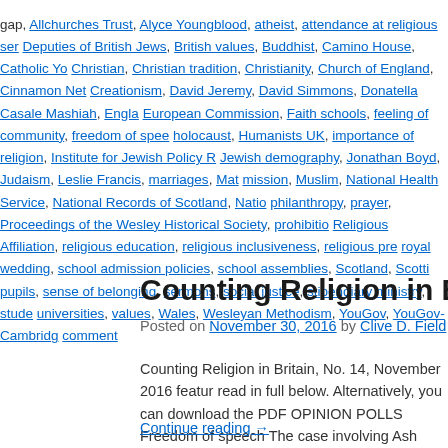gap, Allchurches Trust, Alyce Youngblood, atheist, attendance at religious services, Board of Deputies of British Jews, British values, Buddhist, Camino House, Catholic Youth Ministry, Christian, Christian tradition, Christianity, Church of England, Cinnamon Network, Creationism, David Jeremy, David Simmons, Donatella Casale Mashiah, England, European Commission, Faith schools, feeling of community, freedom of speech, holocaust, Humanists UK, importance of religion, Institute for Jewish Policy Research, Jewish demography, Jonathan Boyd, Judaism, Leslie Francis, marriages, Matthew, mission, Muslim, National Health Service, National Records of Scotland, National, philanthropy, prayer, Proceedings of the Wesley Historical Society, prohibition, Religious Affiliation, religious education, religious inclusiveness, religious press, royal wedding, school admission policies, school assemblies, Scotland, Scottish pupils, sense of belonging, sermons, social justice, stipendiary ministry, students, universities, values, Wales, Wesleyan Methodism, YouGov, YouGov-Cambridge, comment
Counting Religion in Britain, November 2016
Posted on November 30, 2016 by Clive D. Field
Counting Religion in Britain, No. 14, November 2016 features read in full below. Alternatively, you can download the PDF. OPINION POLLS Freedom of speech The case involving Ash
Continue reading →